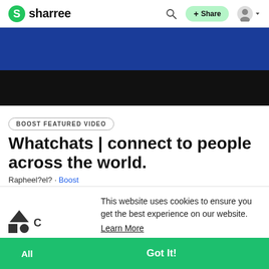sharree — navigation bar with logo, search, + Share button, and user icon
[Figure (screenshot): Video banner with blue top half and black bottom half, representing a video thumbnail]
BOOST FEATURED VIDEO
Whatchats | connect to people across the world.
Raphael? · Boost
This website uses cookies to ensure you get the best experience on our website.
Learn More
Got It!